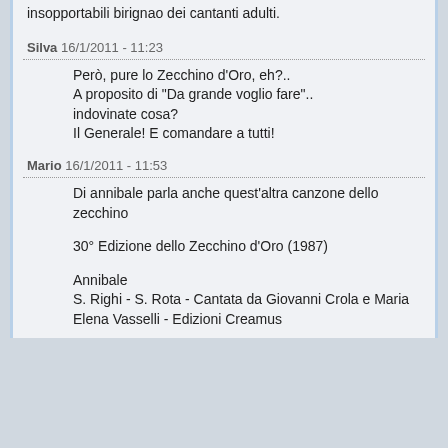insopportabili birignao dei cantanti adulti.
Silva 16/1/2011 - 11:23
Però, pure lo Zecchino d'Oro, eh?.. A proposito di "Da grande voglio fare".. indovinate cosa? Il Generale! E comandare a tutti!
Mario 16/1/2011 - 11:53
Di annibale parla anche quest'altra canzone dello zecchino

30° Edizione dello Zecchino d'Oro (1987)

Annibale
S. Righi - S. Rota - Cantata da Giovanni Crola e Maria Elena Vasselli - Edizioni Creamus